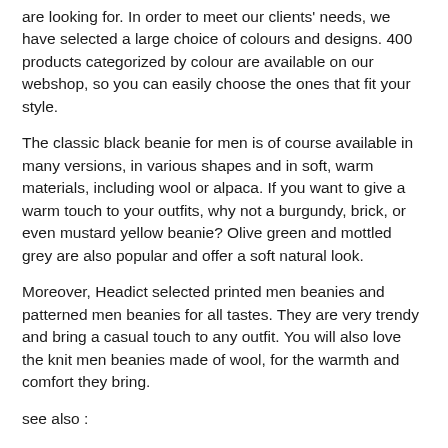are looking for. In order to meet our clients' needs, we have selected a large choice of colours and designs. 400 products categorized by colour are available on our webshop, so you can easily choose the ones that fit your style.
The classic black beanie for men is of course available in many versions, in various shapes and in soft, warm materials, including wool or alpaca. If you want to give a warm touch to your outfits, why not a burgundy, brick, or even mustard yellow beanie? Olive green and mottled grey are also popular and offer a soft natural look.
Moreover, Headict selected printed men beanies and patterned men beanies for all tastes. They are very trendy and bring a casual touch to any outfit. You will also love the knit men beanies made of wool, for the warmth and comfort they bring.
see also :